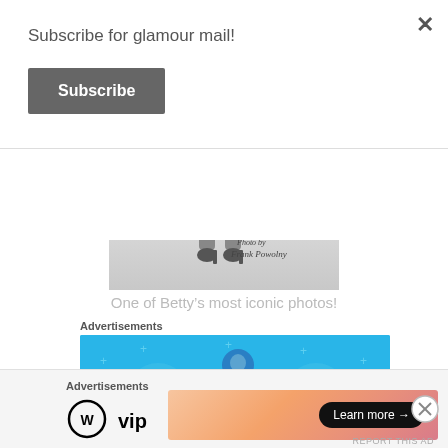Subscribe for glamour mail!
Subscribe
[Figure (photo): Black and white photo of a woman's legs in high heels, with a handwritten inscription and text 'Photo by Frank Powolny']
One of Betty’s most iconic photos!
Advertisements
[Figure (illustration): Blue advertisement banner with illustration of a person using a phone, flanked by notebook and list icons, on a light blue background with decorative sparkles]
Advertisements
[Figure (logo): WordPress VIP logo (WordPress circle logo with 'vip' text)]
[Figure (illustration): Gradient orange/pink advertisement banner with a 'Learn more' button]
REPORT THIS AD